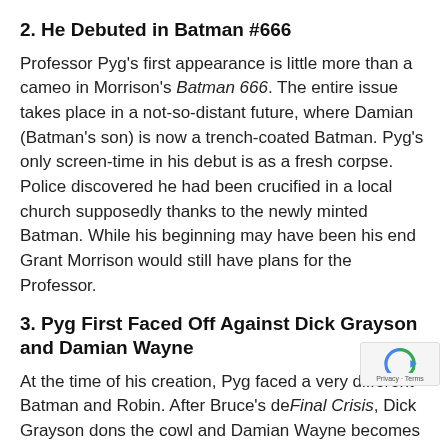2. He Debuted in Batman #666
Professor Pyg's first appearance is little more than a cameo in Morrison's Batman 666. The entire issue takes place in a not-so-distant future, where Damian (Batman's son) is now a trench-coated Batman. Pyg's only screen-time in his debut is as a fresh corpse. Police discovered he had been crucified in a local church supposedly thanks to the newly minted Batman. While his beginning may have been his end Grant Morrison would still have plans for the Professor.
3. Pyg First Faced Off Against Dick Grayson and Damian Wayne
At the time of his creation, Pyg faced a very different Batman and Robin. After Bruce's de Final Crisis, Dick Grayson dons the cowl and Damian Wayne becomes his Robin. The last G